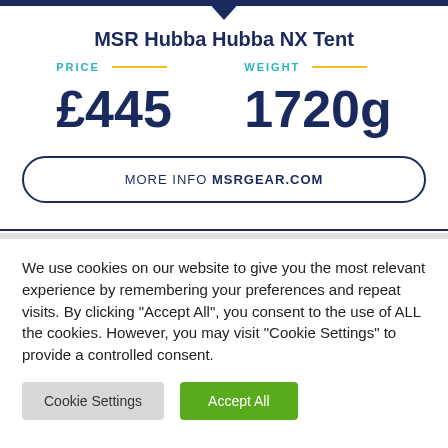MSR Hubba Hubba NX Tent
PRICE
£445
WEIGHT
1720g
MORE INFO MSRGEAR.COM
We use cookies on our website to give you the most relevant experience by remembering your preferences and repeat visits. By clicking "Accept All", you consent to the use of ALL the cookies. However, you may visit "Cookie Settings" to provide a controlled consent.
Cookie Settings
Accept All